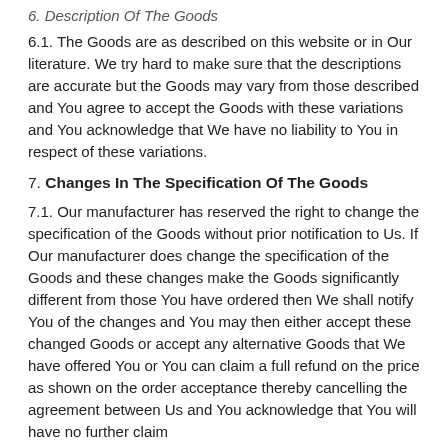6. Description Of The Goods
6.1. The Goods are as described on this website or in Our literature. We try hard to make sure that the descriptions are accurate but the Goods may vary from those described and You agree to accept the Goods with these variations and You acknowledge that We have no liability to You in respect of these variations.
7. Changes In The Specification Of The Goods
7.1. Our manufacturer has reserved the right to change the specification of the Goods without prior notification to Us. If Our manufacturer does change the specification of the Goods and these changes make the Goods significantly different from those You have ordered then We shall notify You of the changes and You may then either accept these changed Goods or accept any alternative Goods that We have offered You or You can claim a full refund on the price as shown on the order acceptance thereby cancelling the agreement between Us and You acknowledge that You will have no further claim